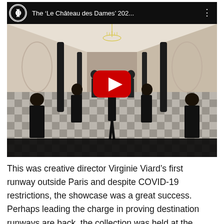[Figure (screenshot): YouTube video embed showing the Chanel 'Le Château des Dames' 202... fashion show. The video thumbnail displays models in black gowns walking down a grand hallway with black-and-white checkered floor, chandeliers, and arched niches. A large red YouTube play button is centered on the image. The top bar shows the Chanel interlocking CC logo, the title 'The 'Le Château des Dames' 202...' and three-dot menu icon.]
This was creative director Virginie Viard's first runway outside Paris and despite COVID-19 restrictions, the showcase was a great success. Perhaps leading the charge in proving destination runways are back, the collection was held at the